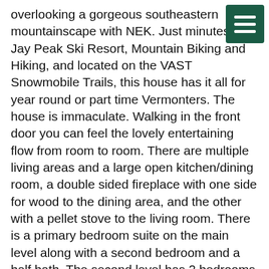overlooking a gorgeous southeastern mountainscape with NEK. Just minutes to Jay Peak Ski Resort, Mountain Biking and Hiking, and located on the VAST Snowmobile Trails, this house has it all for year round or part time Vermonters. The house is immaculate. Walking in the front door you can feel the lovely entertaining flow from room to room. There are multiple living areas and a large open kitchen/dining room, a double sided fireplace with one side for wood to the dining area, and the other with a pellet stove to the living room. There is a primary bedroom suite on the main level along with a second bedroom and a half bath. The second level has 2 bedrooms and a full bathroom. The basement is walkout with a hot tub and large windows facing the beautiful yard and orchard. There is ample garage and storage or workshop space with a drive in garage door to the basement, a 2 car attached garage to the main entry, and a 2 car detached garage with a storage attic above. The apple orchard has been well established, and there is garden space, and well